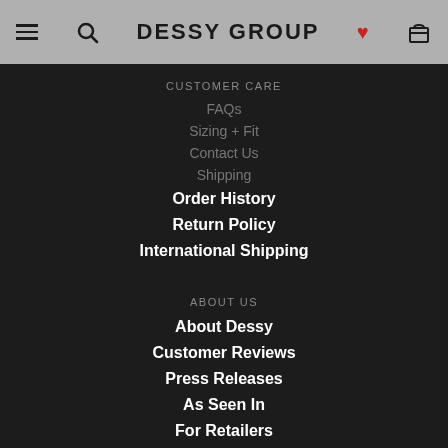DESSY GROUP
CUSTOMER CARE
FAQs
Sizing + Fit
Contact Us
Shipping
Order History
Return Policy
International Shipping
ABOUT US
About Dessy
Customer Reviews
Press Releases
As Seen In
For Retailers
SHIPPING TO